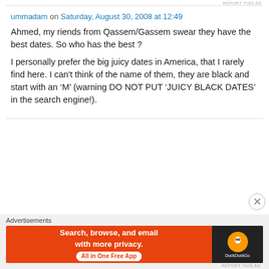REPORT THIS AD
ummadam on Saturday, August 30, 2008 at 12:49
Ahmed, my riends from Qassem/Gassem swear they have the best dates. So who has the best ?
I personally prefer the big juicy dates in America, that I rarely find here. I can't think of the name of them, they are black and start with an ‘M’ (warning DO NOT PUT ‘JUICY BLACK DATES’ in the search engine!).
Advertisements
[Figure (screenshot): DuckDuckGo advertisement banner: orange background with text 'Search, browse, and email with more privacy. All in One Free App' and DuckDuckGo logo on dark right panel.]